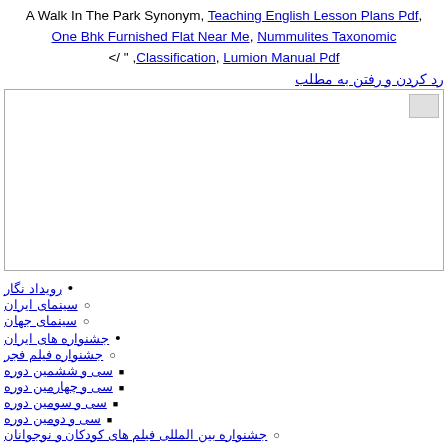A Walk In The Park Synonym, Teaching English Lesson Plans Pdf, One Bhk Furnished Flat Near Me, Nummulites Taxonomic Classification, Lumion Manual Pdf </ " ,
رد کردن و رفتن به مطلب
[Figure (other): White image area with a broken image icon in the top right corner]
رویداد نگار
سینمای ایران
سینمای جهان
جشنواره های ایران
جشنواره فیلم فجر
سی و ششمین دوره
سی و چهارمین دوره
سی و سومین دوره
سی و دومین دوره
جشنواره بین المللی فیلم های کودکان و نوجوانان